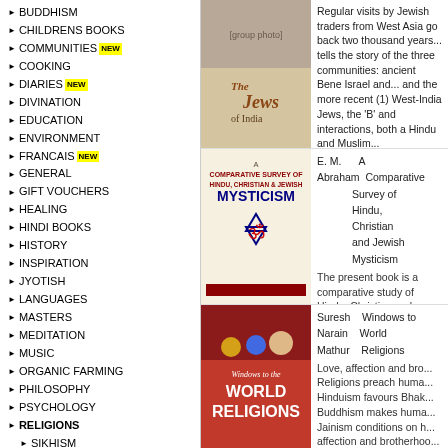BUDDHISM
CHILDRENS BOOKS
COMMUNITIES NEW
COOKING
DIARIES NEW
DIVINATION
EDUCATION
ENVIRONMENT
FRANCAIS NEW
GENERAL
GIFT VOUCHERS
HEALING
HINDI BOOKS
HISTORY
INSPIRATION
JYOTISH
LANGUAGES
MASTERS
MEDITATION
MUSIC
ORGANIC FARMING
PHILOSOPHY
PSYCHOLOGY
RELIGIONS
SIKHISM
BUDDHISM
CHRISTIANITY
DZOGCHEN NEW
HARE KRISHNA
HINDUISM
ISLAM
JAINISM
JUDAISM
SUFISM
THEOSOPHY
SANSKRIT
SPIRITUAL TEXTS
SPIRITUALITY
TANTRA
TIBETAN BUDDHISM
TRAVEL
[Figure (photo): Book cover: The Jews of India]
Regular visits by Jewish traders from West Asia go back two thousand years... tells the story of the three communities: ancient Bene Israel and... and the more recent (1) West-India Jews, the 'B' and interactions, both a Hindu and Muslim...
[Figure (photo): Book cover: A Comparative Survey of Hindu, Christian & Jewish Mysticism]
E. M. Abraham   A Comparative Survey of Hindu, Christian and Jewish Mysticism
The present book is a comparative study of Hindu, Christian and... work is done in the field... studies of any two of th... Again the author has ta... three schools of Vedan... important Upanisad viz... He has then dealt with... New Testament and the... on...
[Figure (photo): Book cover: Windows to the World Religions]
Suresh Narain Mathur   Windows to World Religions
Love, affection and brotherhoo... Religions preach huma... Hinduism favours Bhak... Buddhism makes huma... Jainism conditions on h... affection and brotherhoo...